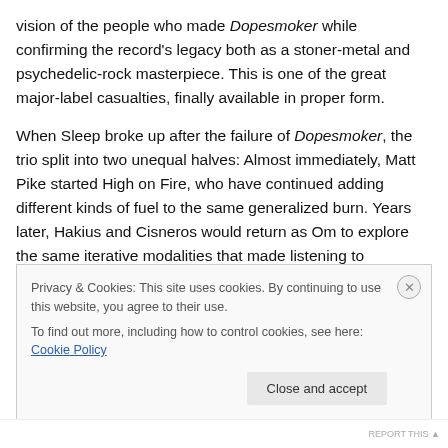vision of the people who made Dopesmoker while confirming the record's legacy both as a stoner-metal and psychedelic-rock masterpiece. This is one of the great major-label casualties, finally available in proper form.
When Sleep broke up after the failure of Dopesmoker, the trio split into two unequal halves: Almost immediately, Matt Pike started High on Fire, who have continued adding different kinds of fuel to the same generalized burn. Years later, Hakius and Cisneros would return as Om to explore the same iterative modalities that made listening to
Privacy & Cookies: This site uses cookies. By continuing to use this website, you agree to their use. To find out more, including how to control cookies, see here: Cookie Policy